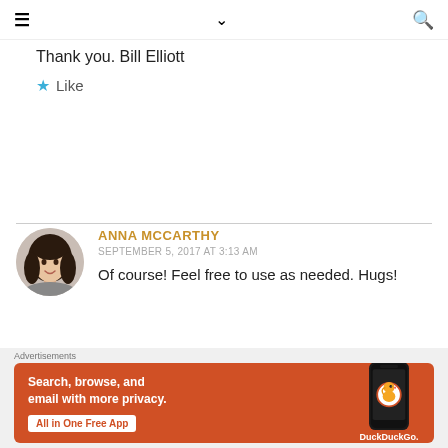≡  ∨  🔍
Thank you. Bill Elliott
★ Like
ANNA MCCARTHY
SEPTEMBER 5, 2017 AT 3:13 AM
Of course! Feel free to use as needed. Hugs!
Advertisements
Search, browse, and email with more privacy. All in One Free App DuckDuckGo.